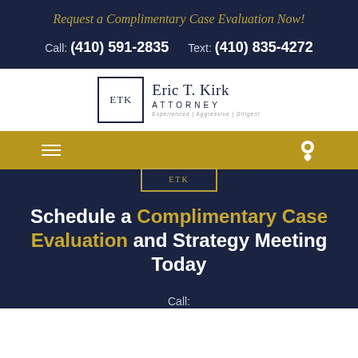Request a Complimentary Case Evaluation Now!
Call: (410) 591-2835    Text: (410) 835-4272
[Figure (logo): Eric T. Kirk Attorney logo with ETK monogram in a box, tagline: Experienced | Aggressive | Diligent]
[Figure (infographic): Gold navigation bar with hamburger menu icon and map pin icon]
Schedule a Complimentary Case Evaluation and Strategy Meeting Today
Call: